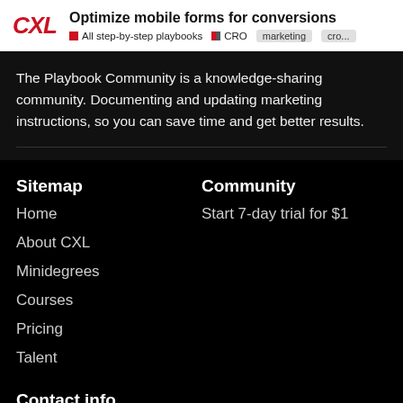CXL — Optimize mobile forms for conversions | All step-by-step playbooks | CRO | marketing | cro...
The Playbook Community is a knowledge-sharing community. Documenting and updating marketing instructions, so you can save time and get better results.
Sitemap
Home
About CXL
Minidegrees
Courses
Pricing
Talent
Community
Start 7-day trial for $1
Contact info